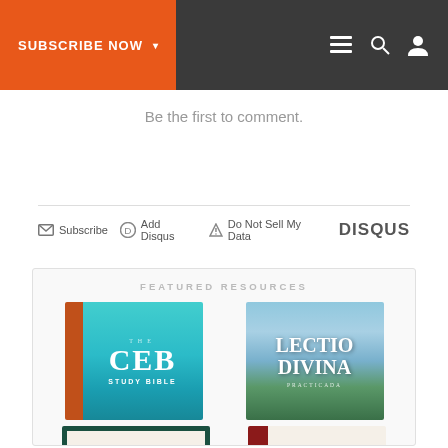SUBSCRIBE NOW ▾
Be the first to comment.
✉ Subscribe  D Add Disqus  ⚠ Do Not Sell My Data  DISQUS
FEATURED RESOURCES
[Figure (photo): The CEB Study Bible book cover – teal and orange]
[Figure (photo): Lectio Divina book cover – sky and mountains]
[Figure (photo): Wesley One volume commentary book cover – dark green border]
[Figure (photo): The CEB Storytellers Bible cover – red spine and text]